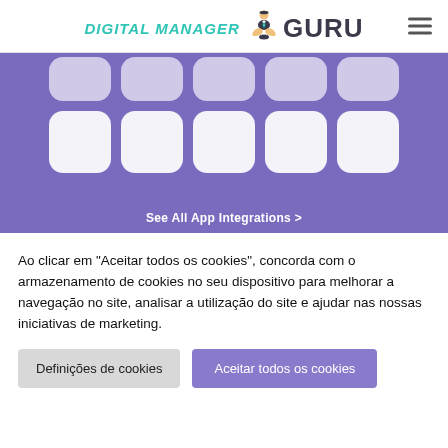[Figure (logo): Digital Manager Guru logo with teal text 'DIGITAL MANAGER' and a meditating figure icon, followed by dark text 'GURU']
[Figure (illustration): Purple app integrations grid showing two rows of 5 white rounded rectangle tiles on a purple background, with 'See All App Integrations >' text link at the bottom]
Ao clicar em "Aceitar todos os cookies", concorda com o armazenamento de cookies no seu dispositivo para melhorar a navegação no site, analisar a utilização do site e ajudar nas nossas iniciativas de marketing.
Definições de cookies
Aceitar todos os cookies